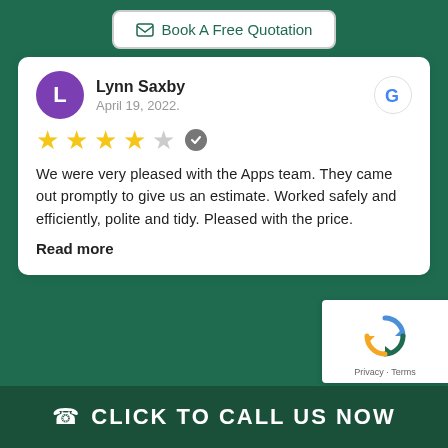[Figure (screenshot): Book A Free Quotation button with envelope icon]
Lynn Saxby
April 19, 2022.
[Figure (other): 4 out of 5 stars rating with verified badge]
We were very pleased with the Apps team. They came out promptly to give us an estimate. Worked safely and efficiently, polite and tidy. Pleased with the price.
Read more
[Figure (other): reCAPTCHA widget - Privacy - Terms]
CLICK TO CALL US NOW